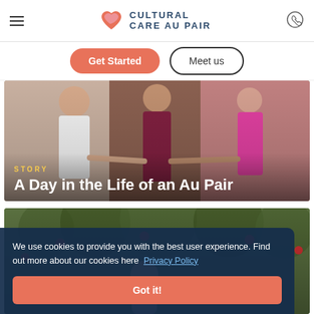Cultural Care Au Pair — navigation header with hamburger menu and phone icon
Get Started | Meet us
[Figure (photo): Photo of people holding hands, with 'STORY' label and title 'A Day in the Life of an Au Pair' overlaid]
A Day in the Life of an Au Pair
[Figure (photo): Photo of a child in a garden with apple trees, with 'STORY' label overlaid]
We use cookies to provide you with the best user experience. Find out more about our cookies here Privacy Policy
Got it!